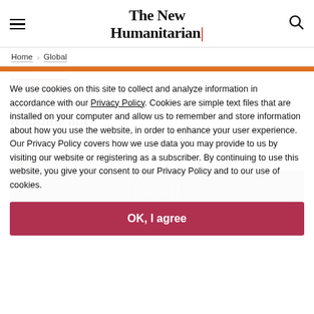The New Humanitarian
Home > Global
Aid and Policy  Interview  28 February 2022
'It's like the wild west': Data security in frontline aid
A Q&A on how aid workers handle sensitive data
Irwin Loy
We use cookies on this site to collect and analyze information in accordance with our Privacy Policy. Cookies are simple text files that are installed on your computer and allow us to remember and store information about how you use the website, in order to enhance your user experience. Our Privacy Policy covers how we use data you may provide to us by visiting our website or registering as a subscriber. By continuing to use this website, you give your consent to our Privacy Policy and to our use of cookies.
OK, I agree